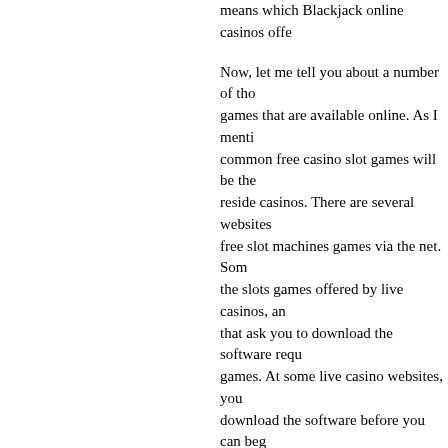means which Blackjack online casinos offe...
Now, let me tell you about a number of those games that are available online. As I menti... common free casino slot games will be the... reside casinos. There are several websites... free slot machines games via the net. Som... the slots games offered by live casinos, an... that ask you to download the software requ... games. At some live casino websites, you ... download the software before you can beg... games.
All these free slots online casinos offer you... games. Some of these include online poke... and immediate lotto video slot machines. A... play. You do not need any kind of downloa... such casino slot machines. Consequently, ... slots online without downloading anything,...
When I was looking for some totally free sl... of research. I looked in a lot of different fre... offering these slot machines free of downlo... a number of different live casino sites that ... machines. Following a careful analysis, it b... there were only a few sites that provided th...